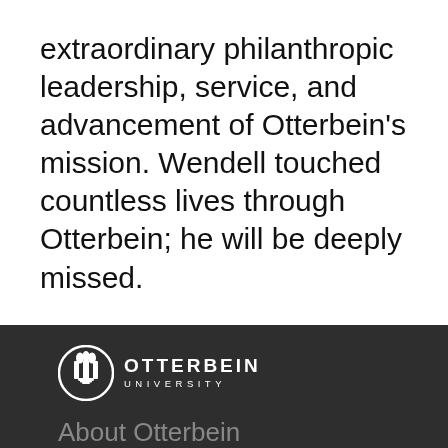extraordinary philanthropic leadership, service, and advancement of Otterbein’s mission. Wendell touched countless lives through Otterbein; he will be deeply missed.
[Figure (logo): Otterbein University logo: circular torch emblem with the text OTTERBEIN UNIVERSITY]
About Otterbein
Campus Map & Virtual Tour
Consumer Information
Otterbein University Accreditation
Title IX